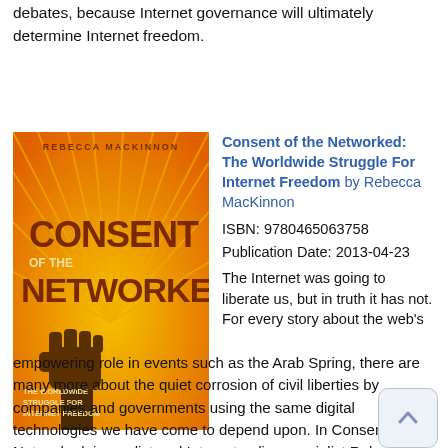debates, because Internet governance will ultimately determine Internet freedom.
[Figure (illustration): Book cover of 'Consent of the Networked: The Worldwide Struggle For Internet Freedom' by Rebecca MacKinnon. Orange and yellow cover with a raised fist graphic and radiating lines.]
Consent of the Networked: The Worldwide Struggle For Internet Freedom by Rebecca MacKinnon
ISBN: 9780465063758
Publication Date: 2013-04-23
The Internet was going to liberate us, but in truth it has not. For every story about the web's empowering role in events such as the Arab Spring, there are many more about the quiet corrosion of civil liberties by companies and governments using the same digital technologies we have come to depend upon. In Consent of the Networked, journalist and Internet policy specialist Rebecca MacKinnon argues that it is time to fight for our rights before they are sold, legislated, programmed, and engineered away. Every day, the corporate sovereigns of cyberspace (Google and Facebook, among others) make decisions that affect our physical freedom--but without our consent. A clarion call to action, Consent of the Networked shows that it is time to stop arguing over whether the Internet can serve the cause of freedom and